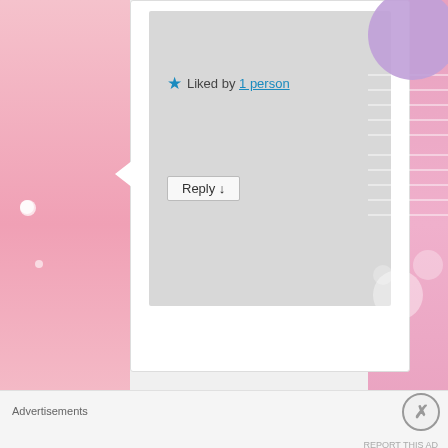★ Liked by 1 person
Reply ↓
[Figure (illustration): Yellow geometric/quilted avatar pattern for user myexpressionofthoughtsblog]
myexpressionofthoughtsblog on May 30, 2018 at 5:48 am said:
Advertisements
REPORT THIS AD